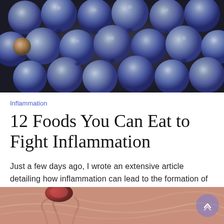[Figure (photo): Close-up photo of many blueberries clustered together, bluish-purple with natural bloom/frost on them, on a dark background.]
Inflammation
12 Foods You Can Eat to Fight Inflammation
Just a few days ago, I wrote an extensive article detailing how inflammation can lead to the formation of cancer.
[Figure (photo): Partial view of a medical/scientific image showing what appears to be cancer cells or inflamed tissue in pink and red tones.]